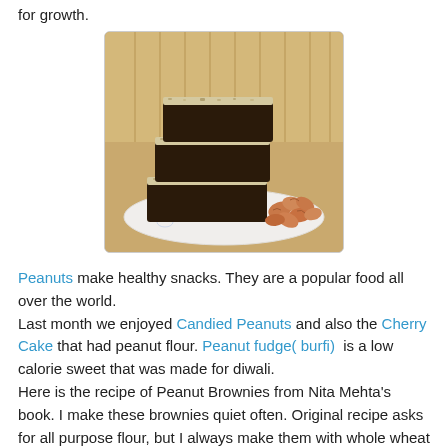for growth.
[Figure (photo): A stack of dark chocolate brownies with white coconut topping on a white plate, with peanuts scattered beside them.]
Peanuts make healthy snacks. They are a popular food all over the world.
Last month we enjoyed Candied Peanuts and also the Cherry Cake that had peanut flour. Peanut fudge( burfi) is a low calorie sweet that was made for diwali.
Here is the recipe of Peanut Brownies from Nita Mehta's book. I make these brownies quiet often. Original recipe asks for all purpose flour, but I always make them with whole wheat flour thus making them healthy and filling.